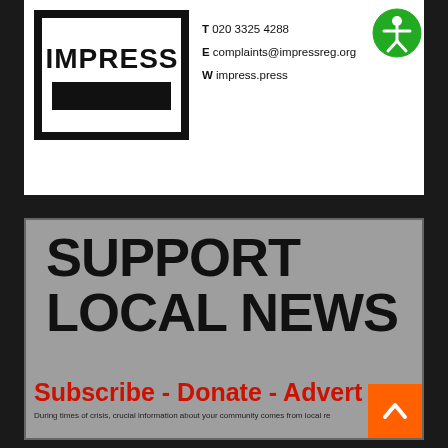[Figure (logo): IMPRESS press regulator logo — black rectangular border with IMPRESS text and solid black bar beneath]
T 020 3325 4288
E complaints@impressreg.org
W impress.press
[Figure (illustration): Green circular accessibility icon with person figure]
SUPPORT LOCAL NEWS
Subscribe - Donate - Advertise
During times of crisis, crucial information about your community comes from local re...